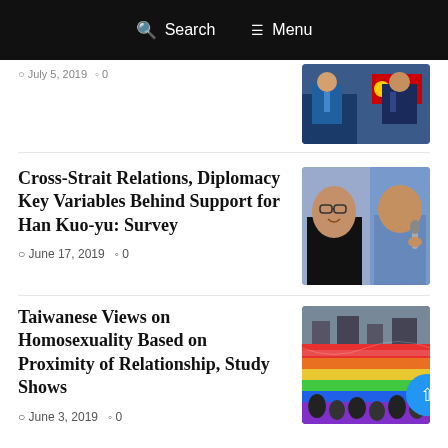Search  Menu
July 5, 2019   0
Cross-Strait Relations, Diplomacy Key Variables Behind Support for Han Kuo-yu: Survey
June 17, 2019   0
[Figure (photo): Two politicians side by side, woman in black jacket and man in blue shirt with microphone]
Taiwanese Views on Homosexuality Based on Proximity of Relationship, Study Shows
June 3, 2019   0
[Figure (photo): Large rainbow pride flag being held by crowd at outdoor event]